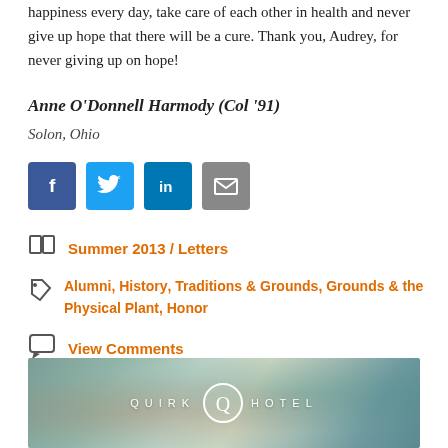happiness every day, take care of each other in health and never give up hope that there will be a cure. Thank you, Audrey, for never giving up on hope!
Anne O'Donnell Harmody (Col '91)
Solon, Ohio
[Figure (infographic): Social sharing buttons: Facebook (dark blue), Twitter (light blue), LinkedIn (blue), Email (gray)]
Summer 2013 / Letters
Alumni, History, Traditions & Grounds, Grounds & the Physical Plant, Honor
View Comments
[Figure (photo): Quirk Hotel advertisement banner with abstract painted background and 'QUIRK Q HOTEL' text]